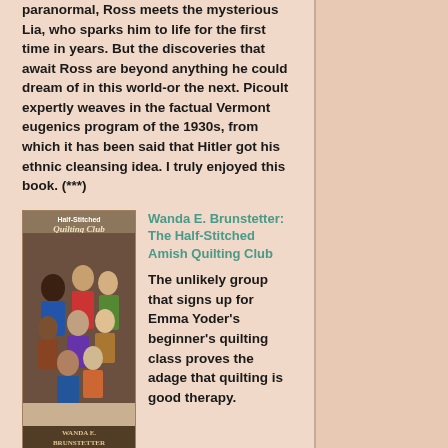paranormal, Ross meets the mysterious Lia, who sparks him to life for the first time in years. But the discoveries that await Ross are beyond anything he could dream of in this world-or the next. Picoult expertly weaves in the factual Vermont eugenics program of the 1930s, from which it has been said that Hitler got his ethnic cleansing idea. I truly enjoyed this book. (***)
[Figure (photo): Book cover of The Half-Stitched Amish Quilting Club by Wanda E. Brunstetter, showing a group of diverse people on the cover]
Wanda E. Brunstetter: The Half-Stitched Amish Quilting Club
The unlikely group that signs up for Emma Yoder's beginner's quilting class proves the adage that quilting is good therapy. The group includes a preacher's wife, a troubled married couple, a biker working through a dui probation requirement, a young woman from a troubled home, and a young